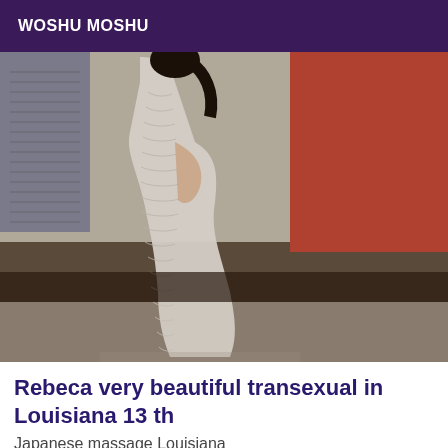WOSHU MOSHU
[Figure (photo): Person standing in a ribbed knit light grey form-fitting long-sleeve dress, photographed from behind/side, arms crossed behind back, lower portion of dress with slit visible, indoor background with dark furniture and orange wall.]
Rebeca very beautiful transexual in Louisiana 13 th
Japanese massage Louisiana